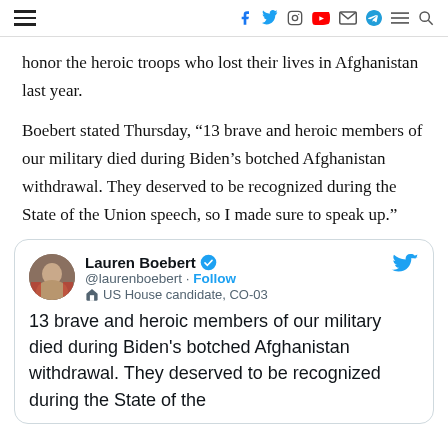Navigation and social icons header
honor the heroic troops who lost their lives in Afghanistan last year.
Boebert stated Thursday, “13 brave and heroic members of our military died during Biden’s botched Afghanistan withdrawal. They deserved to be recognized during the State of the Union speech, so I made sure to speak up.”
[Figure (screenshot): Tweet from Lauren Boebert (@laurenboebert) with blue verified checkmark, labeled US House candidate CO-03, reading: 13 brave and heroic members of our military died during Biden's botched Afghanistan withdrawal. They deserved to be recognized during the State of the]